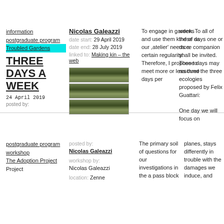information
postgraduate program
Troubled Gardens
THREE DAYS A WEEK
24 April 2019
posted by:
Nicolas Galeazzi
date start: 29 April 2019
date end: 28 July 2019
linked to: Making kin – the web
[Figure (photo): Three stacked landscape photos showing fields with trees on the horizon]
To engage in gardens and use them kind of as our ,atelier' needs a certain regularity. Therefore, I propose to meet more or less three days per
week. To all of these days one or more companion shall be invited. These days may resound the three ecologies proposed by Felix Guattari:

One day we will focus on
postgraduate program workshop
The Adoption Project
posted by:
Nicolas Galeazzi
workshop by:
Nicolas Galeazzi
location: Zenne
The primary soil of questions for our investigations in the a pass block
planes, stays differently in trouble with the damages we induce, and